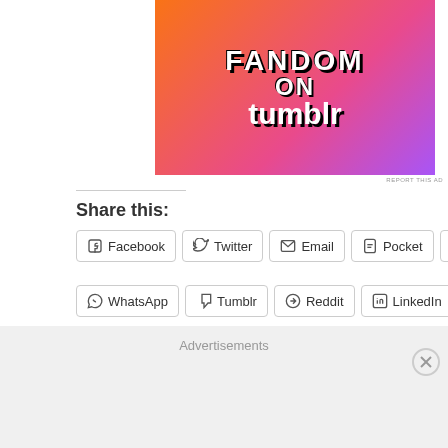[Figure (illustration): Tumblr advertisement banner with colorful gradient background (orange to purple) displaying 'FANDOM ON tumblr' text with decorative icons including a skull, crab, leaves, music notes, hearts, and other doodles]
REPORT THIS AD
Share this:
Facebook
Twitter
Email
Pocket
Print
WhatsApp
Tumblr
Reddit
LinkedIn
Pinterest
Like this:
Advertisements